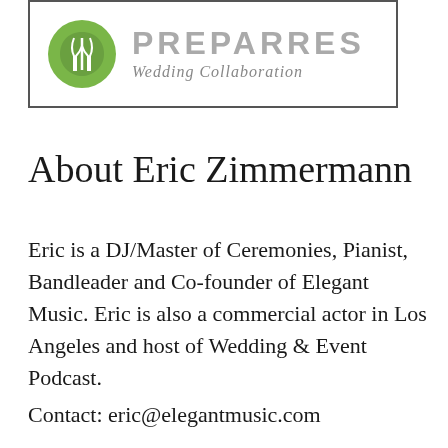[Figure (logo): PREPARRES Wedding Collaboration logo with a green leaf/circle icon on the left and stylized text on the right, enclosed in a rectangular border]
About Eric Zimmermann
Eric is a DJ/Master of Ceremonies, Pianist, Bandleader and Co-founder of Elegant Music. Eric is also a commercial actor in Los Angeles and host of Wedding & Event Podcast.
Contact: eric@elegantmusic.com